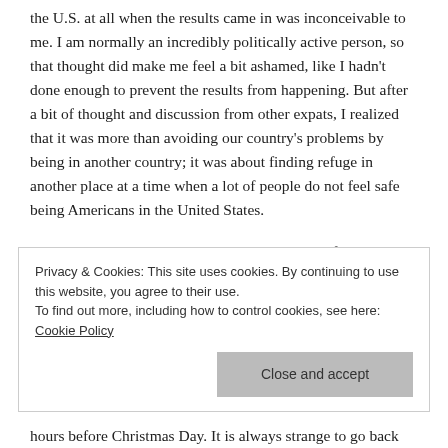the U.S. at all when the results came in was inconceivable to me. I am normally an incredibly politically active person, so that thought did make me feel a bit ashamed, like I hadn't done enough to prevent the results from happening. But after a bit of thought and discussion from other expats, I realized that it was more than avoiding our country's problems by being in another country; it was about finding refuge in another place at a time when a lot of people do not feel safe being Americans in the United States.
Furthermore, the warmth and condolences that I felt the day after the election from my Mexican friends and coworkers confirmed to me that I was in the right place. Ya
Privacy & Cookies: This site uses cookies. By continuing to use this website, you agree to their use. To find out more, including how to control cookies, see here: Cookie Policy
hours before Christmas Day. It is always strange to go back